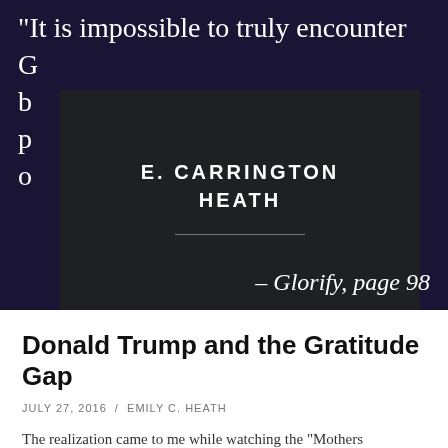[Figure (illustration): Dark navy/purple banner with a large white serif quote text partially obscured by a dark overlay box showing the author name 'E. CARRINGTON HEATH' in bold uppercase letters with a horizontal rule, and a citation '- Glorify, page 98' at the bottom right.]
Donald Trump and the Gratitude Gap
JULY 27, 2016  /  EMILY C. HEATH
The realization came to me while watching the "Mothers